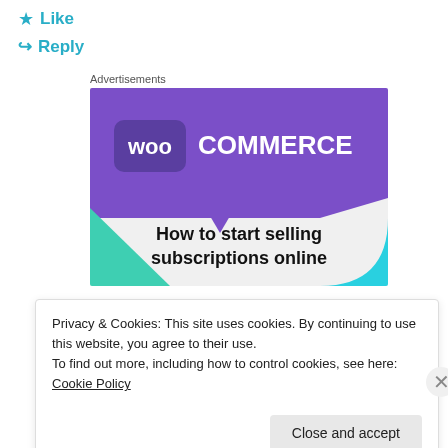★ Like
↪ Reply
Advertisements
[Figure (illustration): WooCommerce advertisement banner with purple header containing WooCommerce logo, teal triangle accent bottom left, light blue quarter-circle bottom right, and text: How to start selling subscriptions online]
Privacy & Cookies: This site uses cookies. By continuing to use this website, you agree to their use.
To find out more, including how to control cookies, see here: Cookie Policy
Close and accept